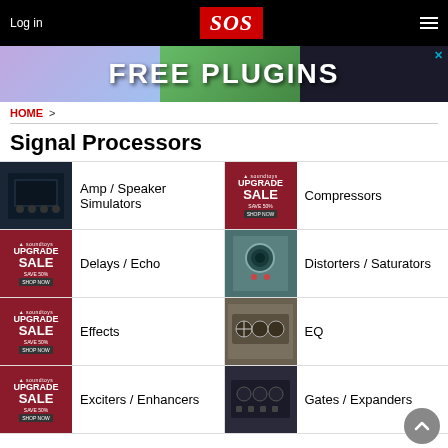Log in | SOS | Menu
[Figure (infographic): FREE PLUGINS advertisement banner]
HOME >
Signal Processors
Amp / Speaker Simulators
Compressors
Delays / Echo
Distorters / Saturators
Effects
EQ
Exciters / Enhancers
Gates / Expanders